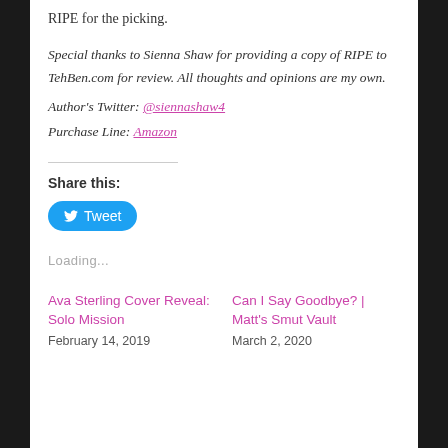RIPE for the picking.
Special thanks to Sienna Shaw for providing a copy of RIPE to TehBen.com for review. All thoughts and opinions are my own.
Author's Twitter: @siennashaw4
Purchase Line: Amazon
Share this:
[Figure (other): Twitter Tweet button in blue rounded rectangle]
Loading...
Ava Sterling Cover Reveal: Solo Mission
February 14, 2019
Can I Say Goodbye? | Matt's Smut Vault
March 2, 2020